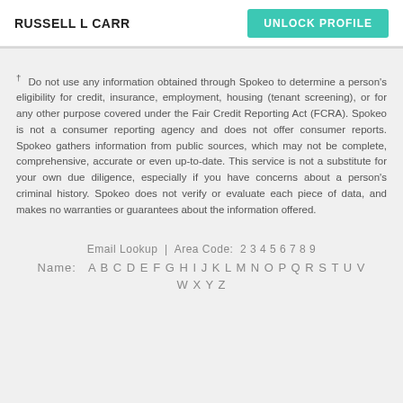RUSSELL L CARR
UNLOCK PROFILE
† Do not use any information obtained through Spokeo to determine a person's eligibility for credit, insurance, employment, housing (tenant screening), or for any other purpose covered under the Fair Credit Reporting Act (FCRA). Spokeo is not a consumer reporting agency and does not offer consumer reports. Spokeo gathers information from public sources, which may not be complete, comprehensive, accurate or even up-to-date. This service is not a substitute for your own due diligence, especially if you have concerns about a person's criminal history. Spokeo does not verify or evaluate each piece of data, and makes no warranties or guarantees about the information offered.
Email Lookup | Area Code: 2 3 4 5 6 7 8 9
Name: A B C D E F G H I J K L M N O P Q R S T U V W X Y Z